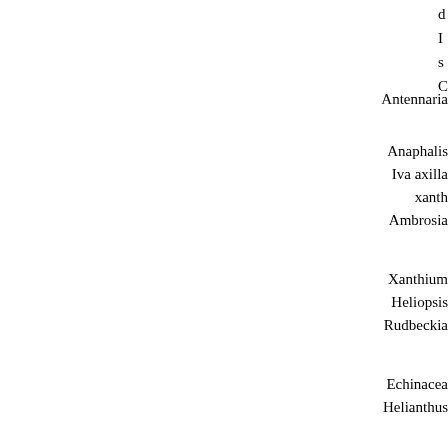d
I
s
C
Antennaria

Anaphalis
Iva axilla
     xanth
Ambrosia


Xanthium
Heliopsis
Rudbeckia


Echinacea
Helianthus
Antennaria
Anaphalis
Iva axilla
xanth
Ambrosia
Xanthium
Heliopsis
Rudbeckia
Echinacea
Helianthus